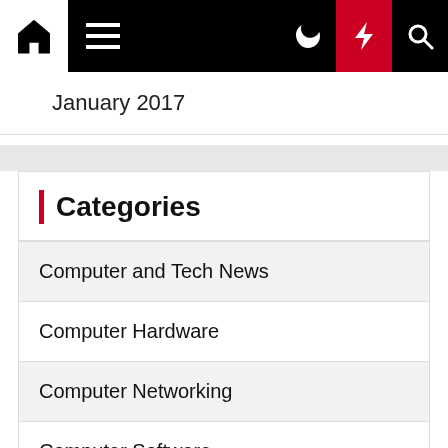Navigation bar with home icon, menu, moon icon, lightning icon, search icon
January 2017
Categories
Computer and Tech News
Computer Hardware
Computer Networking
Computer Software
Ecommerce Development
Hosting
Latest Technology